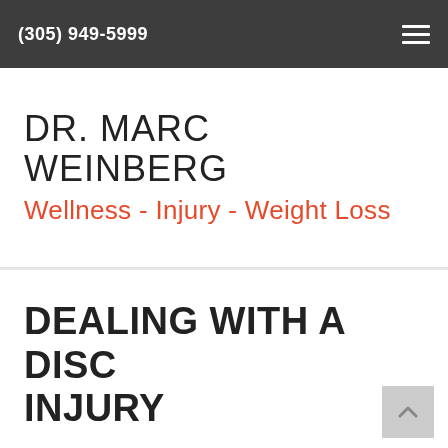(305) 949-5999
DR. MARC WEINBERG
Wellness - Injury - Weight Loss
DEALING WITH A DISC INJURY